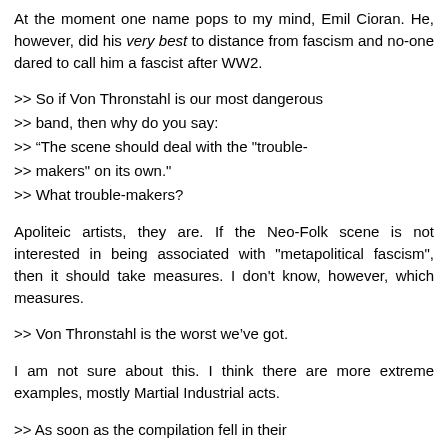At the moment one name pops to my mind, Emil Cioran. He, however, did his very best to distance from fascism and no-one dared to call him a fascist after WW2.
>> So if Von Thronstahl is our most dangerous
>> band, then why do you say:
>> “The scene should deal with the "trouble-
>> makers" on its own."
>> What trouble-makers?
Apoliteic artists, they are. If the Neo-Folk scene is not interested in being associated with "metapolitical fascism", then it should take measures. I don't know, however, which measures.
>> Von Thronstahl is the worst we've got.
I am not sure about this. I think there are more extreme examples, mostly Martial Industrial acts.
>> As soon as the compilation fell in their
>> mailbox, they dismantled the band and made a